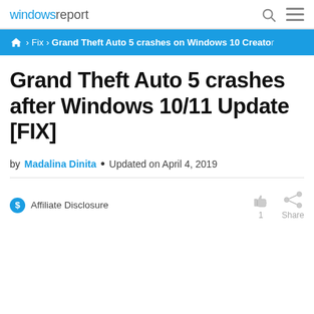windows report
Home › Fix › Grand Theft Auto 5 crashes on Windows 10 Creator
Grand Theft Auto 5 crashes after Windows 10/11 Update [FIX]
by Madalina Dinita • Updated on April 4, 2019
Affiliate Disclosure
1  Share